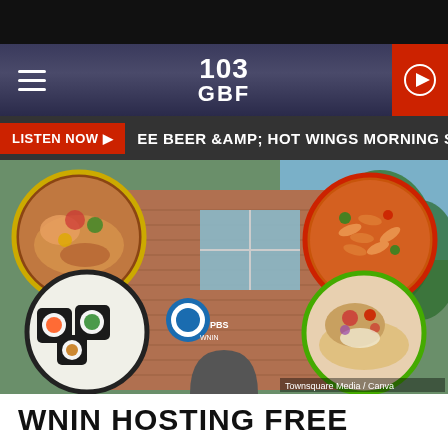[Figure (screenshot): 103 GBF radio station app screenshot showing navigation bar with hamburger menu, 103 GBF logo, and red play button]
LISTEN NOW ▶   EE BEER &AMP; HOT WINGS MORNING SHOW   TH
[Figure (photo): Composite image showing a PBS/WNIN building in background with four circular food photos: burrito/wrap with yellow border, sushi rolls with black border, pasta with red border, and gyro/wrap with green border. Attribution: Townsquare Media / Canva]
WNIN HOSTING FREE